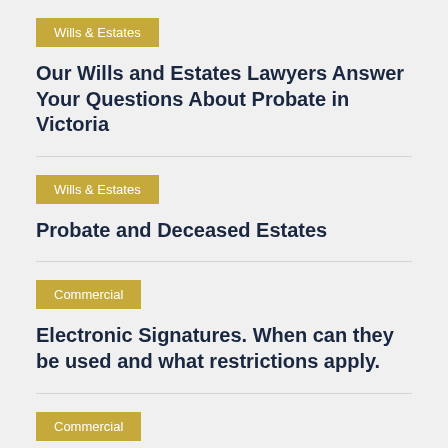Wills & Estates
Our Wills and Estates Lawyers Answer Your Questions About Probate in Victoria
Wills & Estates
Probate and Deceased Estates
Commercial
Electronic Signatures. When can they be used and what restrictions apply.
Commercial